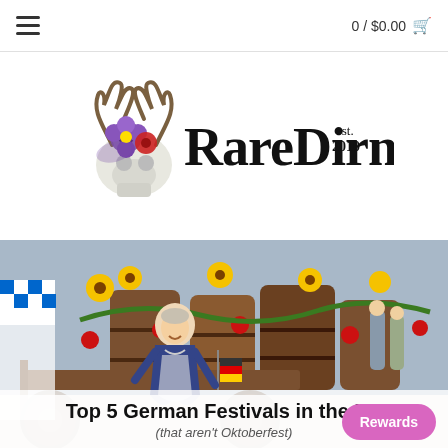0 / $0.00
[Figure (logo): Rare Dirndl logo with decorative skull wearing flowers and antlers on the left, gothic blackletter text 'Rare Dirndl est. 2010' on the right]
[Figure (photo): Woman in traditional Bavarian dirndl dress standing in front of wooden barrels decorated with red roses, yellow sunflowers, and green garlands. German flag bunting visible. Bavarian blue and white diamond flag in background. Outdoor festival setting.]
Top 5 German Festivals in the US
(that aren't Oktoberfest)